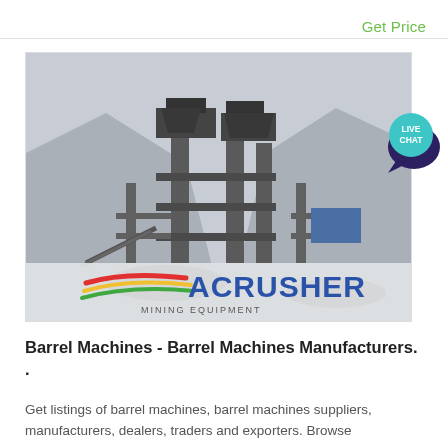Get Price
[Figure (photo): Industrial mining/crushing equipment facility with large metal structures and conveyors set against a mountainous, hazy backdrop. An ACRUSHER MINING EQUIPMENT logo overlay appears at the bottom of the image. A 'LIVE CHAT' speech-bubble icon appears in the top-right corner.]
Barrel Machines - Barrel Machines Manufacturers. .
Get listings of barrel machines, barrel machines suppliers, manufacturers, dealers, traders and exporters. Browse